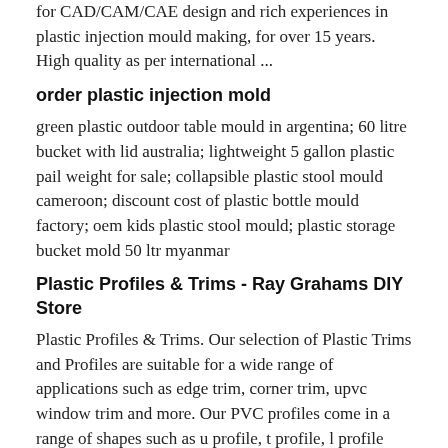for CAD/CAM/CAE design and rich experiences in plastic injection mould making, for over 15 years. High quality as per international ...
order plastic injection mold
green plastic outdoor table mould in argentina; 60 litre bucket with lid australia; lightweight 5 gallon plastic pail weight for sale; collapsible plastic stool mould cameroon; discount cost of plastic bottle mould factory; oem kids plastic stool mould; plastic storage bucket mold 50 ltr myanmar
Plastic Profiles & Trims - Ray Grahams DIY Store
Plastic Profiles & Trims. Our selection of Plastic Trims and Profiles are suitable for a wide range of applications such as edge trim, corner trim, upvc window trim and more. Our PVC profiles come in a range of shapes such as u profile, t profile, l profile square trim, plastic angle